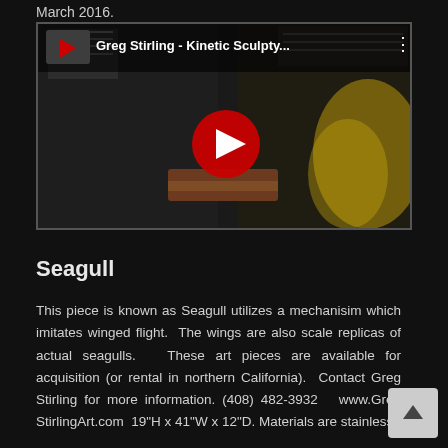March 2016.
[Figure (screenshot): YouTube video embed thumbnail showing 'Greg Stirling - Kinetic Sculptу...' with a red play button overlay, depicting a kinetic sculpture with metallic components on a wooden base against a dark background]
Seagull
This piece is known as Seagull utilizes a mechanisim which imitates winged flight.  The wings are also scale replicas of actual seagulls.   These art pieces are available for acquisition (or rental in northern California).  Contact Greg Stirling for more information. (408) 482-3932   www.Greg StirlingArt.com  19"H x 41"W x 12"D. Materials are stainless